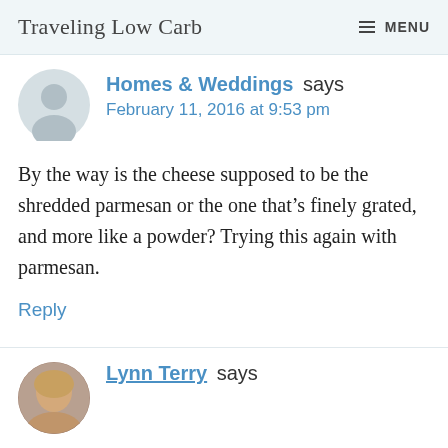Traveling Low Carb   MENU
Homes & Weddings says
February 11, 2016 at 9:53 pm
By the way is the cheese supposed to be the shredded parmesan or the one that’s finely grated, and more like a powder? Trying this again with parmesan.
Reply
Lynn Terry says